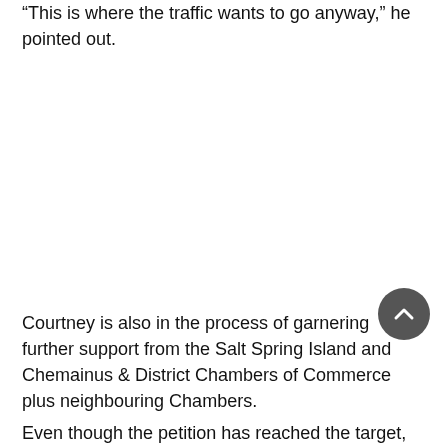“This is where the traffic wants to go anyway,” he pointed out.
Courtney is also in the process of garnering further support from the Salt Spring Island and Chemainus & District Chambers of Commerce plus neighbouring Chambers.
Even though the petition has reached the target, Courtney